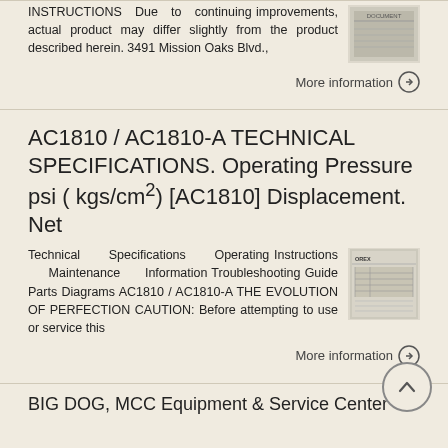INSTRUCTIONS  Due to continuing improvements, actual product may differ slightly from the product described herein. 3491 Mission Oaks Blvd.,
[Figure (photo): Small thumbnail image of a product document/manual cover]
More information →
AC1810 / AC1810-A TECHNICAL SPECIFICATIONS. Operating Pressure psi (kgs/cm²) [AC1810] Displacement. Net
Technical Specifications Operating Instructions Maintenance Information Troubleshooting Guide Parts Diagrams AC1810 / AC1810-A THE EVOLUTION OF PERFECTION CAUTION: Before attempting to use or service this
[Figure (photo): Small thumbnail image of a technical manual or parts diagram for AC1810]
More information →
BIG DOG, MCC Equipment & Service Center